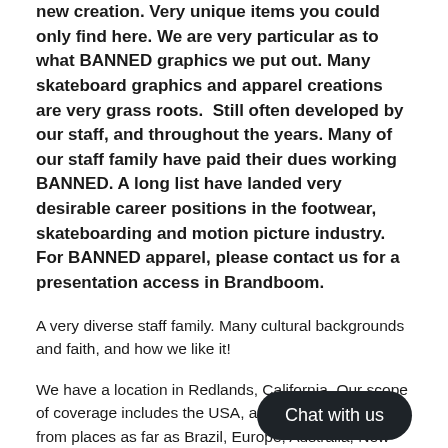new creation. Very unique items you could only find here. We are very particular as to what BANNED graphics we put out. Many skateboard graphics and apparel creations are very grass roots.  Still often developed by our staff, and throughout the years. Many of our staff family have paid their dues working BANNED. A long list have landed very desirable career positions in the footwear, skateboarding and motion picture industry. For BANNED apparel, please contact us for a presentation access in Brandboom.
A very diverse staff family. Many cultural backgrounds and faith, and how we like it!
We have a location in Redlands, California. Our scope of coverage includes the USA, and skateboarders from places as far as Brazil, Europe, Australia, New Zeeland, Russian Federation.
Many skaters pass thru our doors. Many [obscured] in Redlands area at one point or another. Adelmo Jr,  my fellow
[Figure (other): Chat with us button overlay (dark rounded rectangle with white text)]